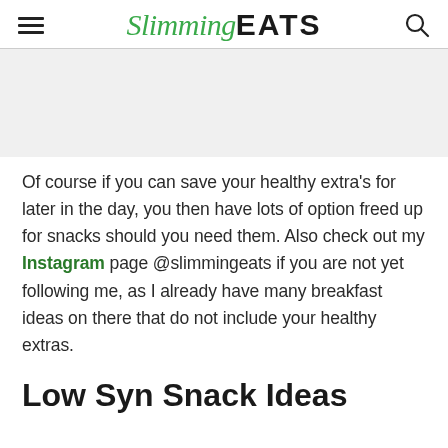Slimming EATS
[Figure (other): Advertisement placeholder area, light gray background]
Of course if you can save your healthy extra's for later in the day, you then have lots of option freed up for snacks should you need them. Also check out my Instagram page @slimmingeats if you are not yet following me, as I already have many breakfast ideas on there that do not include your healthy extras.
Low Syn Snack Ideas